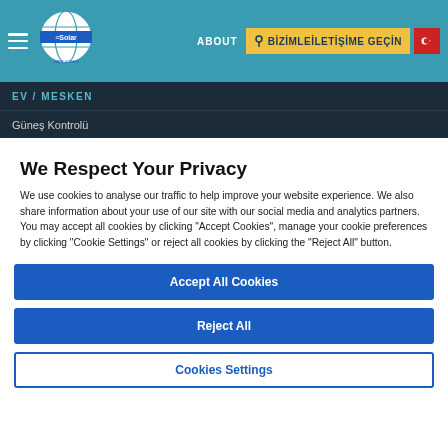[Figure (logo): Solar Gard Saint-Gobain logo with globe icon in white on teal header]
ABOUT | BİZİMLE İLETİŞİME GEÇİN | TR flag
EV / MESKEN
Güneş Kontrolü
We Respect Your Privacy
We use cookies to analyse our traffic to help improve your website experience. We also share information about your use of our site with our social media and analytics partners. You may accept all cookies by clicking "Accept Cookies", manage your cookie preferences by clicking "Cookie Settings" or reject all cookies by clicking the "Reject All" button.
Accept All Cookies
Reject All
Cookies Settings